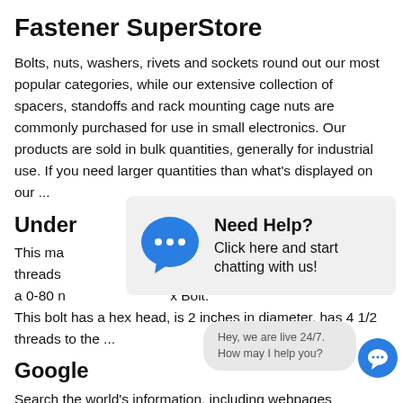Fastener SuperStore
Bolts, nuts, washers, rivets and sockets round out our most popular categories, while our extensive collection of spacers, standoffs and rack mounting cage nuts are commonly purchased for use in small electronics. Our products are sold in bulk quantities, generally for industrial use. If you need larger quantities than what's displayed on our ...
Under
This ma... s 80 threads... d with a 0-80 n... x Bolt: This bolt has a hex head, is 2 inches in diameter, has 4 1/2 threads to the ...
[Figure (other): Chat popup overlay with blue speech bubble icon containing three dots, heading 'Need Help?', and text 'Click here and start chatting with us!']
Google
Search the world's information, including webpages
[Figure (other): Chat notification bubble at bottom right saying 'Hey, we are live 24/7. How may I help you?' with a blue circular chat button]